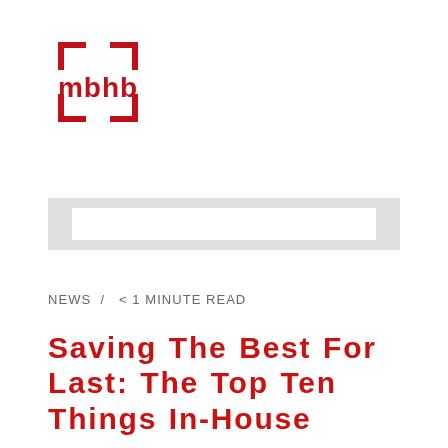[Figure (logo): mbhb logo: red bracket square with lowercase letters mbhb inside]
[Figure (other): Decorative gray horizontal bar element]
NEWS /  < 1 MINUTE READ
Saving The Best For Last: The Top Ten Things In-House